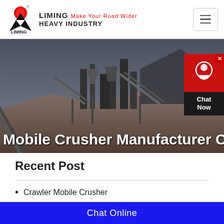LIMING Make Your Road Wider HEAVY INDUSTRY
[Figure (photo): Industrial mobile crusher plant machinery at a mining or quarry site, with conveyor belts and large equipment against a mountainous background. Dark overlay with title text overlaid.]
Mobile Crusher Manufacturer Ch
Recent Post
Crawler Mobile Crusher
MTW-Z European Trapezium-Mill
K Series Mobile Crushing Plant
Chat Online